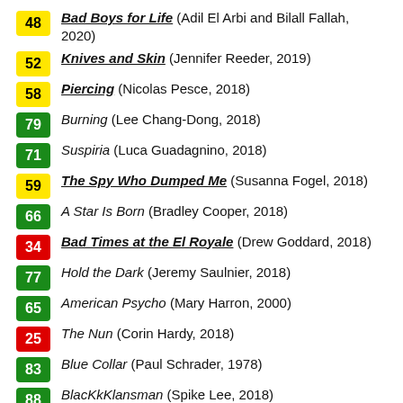48 Bad Boys for Life (Adil El Arbi and Bilall Fallah, 2020)
52 Knives and Skin (Jennifer Reeder, 2019)
58 Piercing (Nicolas Pesce, 2018)
79 Burning (Lee Chang-Dong, 2018)
71 Suspiria (Luca Guadagnino, 2018)
59 The Spy Who Dumped Me (Susanna Fogel, 2018)
66 A Star Is Born (Bradley Cooper, 2018)
34 Bad Times at the El Royale (Drew Goddard, 2018)
77 Hold the Dark (Jeremy Saulnier, 2018)
65 American Psycho (Mary Harron, 2000)
25 The Nun (Corin Hardy, 2018)
83 Blue Collar (Paul Schrader, 1978)
88 BlacKkKlansman (Spike Lee, 2018)